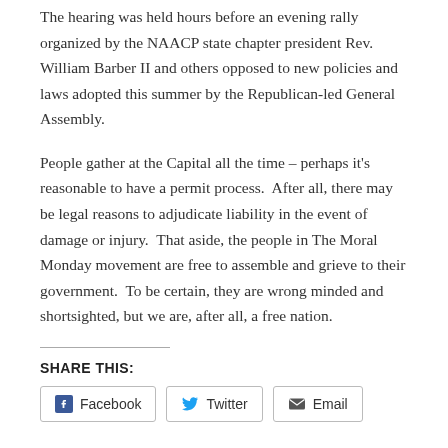The hearing was held hours before an evening rally organized by the NAACP state chapter president Rev. William Barber II and others opposed to new policies and laws adopted this summer by the Republican-led General Assembly.
People gather at the Capital all the time – perhaps it's reasonable to have a permit process.  After all, there may be legal reasons to adjudicate liability in the event of damage or injury.  That aside, the people in The Moral Monday movement are free to assemble and grieve to their government.  To be certain, they are wrong minded and shortsighted, but we are, after all, a free nation.
SHARE THIS:
Facebook  Twitter  Email